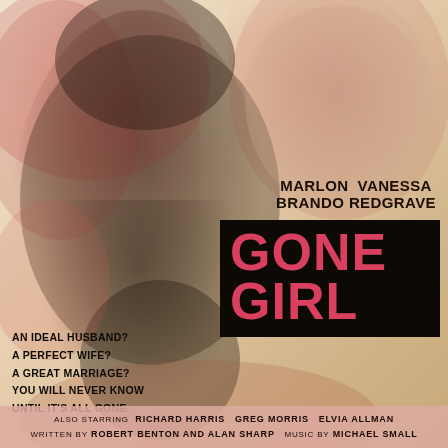[Figure (illustration): Vintage-style movie poster background with two overlapping face silhouettes — a young man on the left in dark monochrome tones wearing a suit and tie, and a woman on the upper right in lighter pink/beige tones. Background has aged yellow-pink wash with red/pink paint splatter accents.]
MARLON BRANDO  VANESSA REDGRAVE
GONE GIRL
AN IDEAL HUSBAND?
A PERFECT WIFE?
A GREAT MARRIAGE?
YOU WILL NEVER KNOW
UNTIL IT'S ALL GONE.
ALSO STARRING  RICHARD HARRIS  GREG MORRIS  ELVIA ALLMAN
WRITTEN BY ROBERT BENTON AND ALAN SHARP  MUSIC BY MICHAEL SMALL